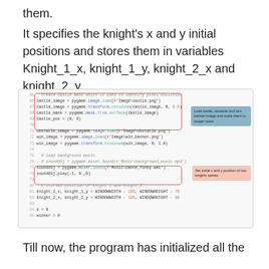them.
It specifies the knight's x and y initial positions and stores them in variables Knight_1_x, knight_1_y, knight_2_x and knight_2_y.
[Figure (screenshot): Code editor screenshot showing Python pygame code lines 65-85 with two red-bordered annotation boxes. The first box highlights castle image loading code (lines 65-73) with a blue tooltip: 'Load castle, obstacle and win banner image and scale them to proper sizes.' The second box highlights knight initial position code (lines 80-82) with a pink tooltip: 'Set initial x and y position of two knights sprites.']
Till now, the program has initialized all the